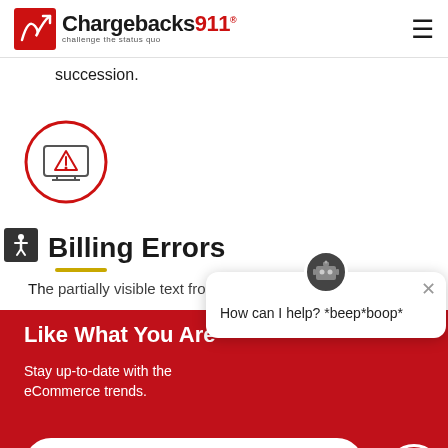Chargebacks911 – challenge the status quo
succession.
[Figure (illustration): A monitor icon with a warning/alert triangle symbol inside a red circle outline]
Billing Errors
The partially visible text below the heading
Like What You Are
Stay up-to-date with the eCommerce trends.
Subscribe to Our Newsletter
[Figure (illustration): Chat popup with robot avatar saying: How can I help? *beep*boop*]